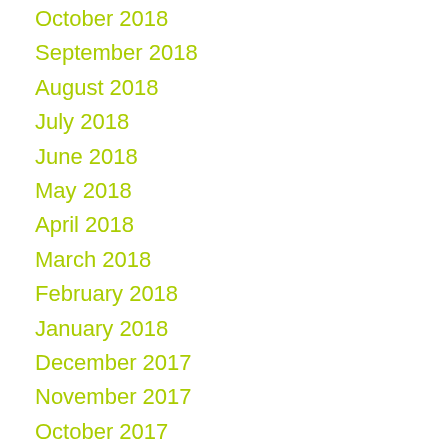October 2018
September 2018
August 2018
July 2018
June 2018
May 2018
April 2018
March 2018
February 2018
January 2018
December 2017
November 2017
October 2017
September 2017
August 2017
July 2017
June 2017